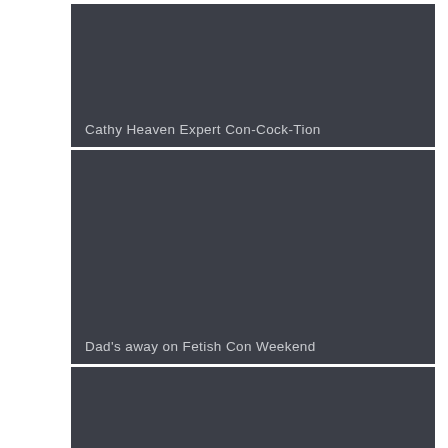Cathy Heaven Expert Con-Cock-Tion
Dad's away on Fetish Con Weekend